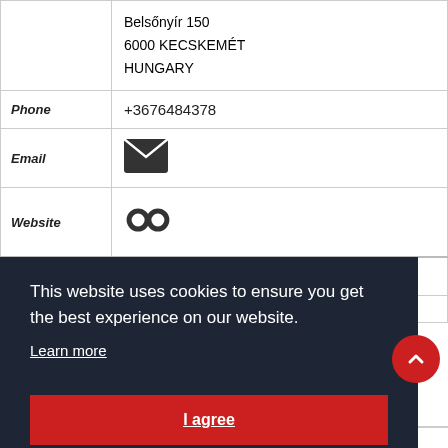|  | Belsőnyír 150
6000 KECSKEMÉT
HUNGARY |
| Phone | +3676484378 |
| Email | [envelope icon] |
| Website | [link icon] |
| Aur 1 SARL |  |
This website uses cookies to ensure you get the best experience on our website.
Learn more
I agree
Autran Et Mah SARL